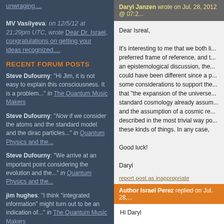MV Vasilyeva: on 12/5/12 at 21:29pm UTC, wrote Dear Dr. Israel, congratulations on getting your ideas recognized....
RECENT FORUM POSTS
Steve Dufourny: "Hi Jim, it is not easy to explain this consciousness. It is a problem..." in The Quantum Music Makers
Steve Dufourny: "Now if we consider the atoms and the standard model and the dirac particles..." in Quantum Physics and the...
Steve Dufourny: "We arrive at an important point considering the evolution and the..." in Quantum Physics and the...
jim hughes: "I think "integrated information" might turn out to be an indication of..." in The Quantum Music Makers
Steve Dufourny: "Thanks Mr Pepper to share this on this forum," in Global Collaboration
Steve Dufourny: "It is like if we had
Daryl Janzen wrote on Jul. 28, 2012 @ 07:2...
Dear Isreal,

It's interesting to me that we both li... preferred frame of reference, and t... an epistemological discussion, the... could have been different since a p... some considerations to support the... that "the expansion of the universe... standard cosmology already assum... and the assumption of a cosmic re... described in the most trivial way po... these kinds of things. In any case,
Good luck!
Daryl
report post as inappropriate
Author Israel Perez replied on Jul. 28,...
Hi Daryl

I'm also surprised to see your... working with the so-called bo...